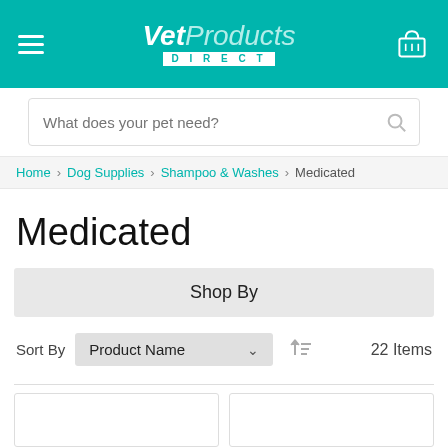[Figure (logo): VetProducts Direct logo on teal header with hamburger menu and cart icon]
What does your pet need?
Home > Dog Supplies > Shampoo & Washes > Medicated
Medicated
Shop By
Sort By  Product Name   22 Items